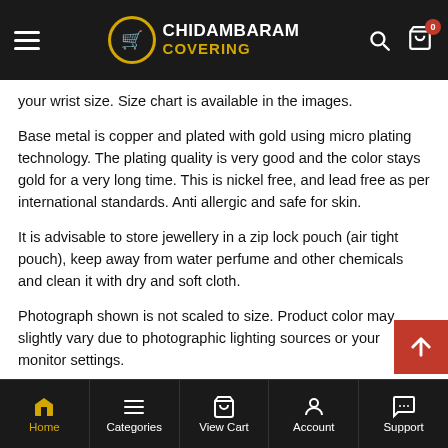Chidambaram Covering — navigation header
your wrist size. Size chart is available in the images.
Base metal is copper and plated with gold using micro plating technology. The plating quality is very good and the color stays gold for a very long time. This is nickel free, and lead free as per international standards. Anti allergic and safe for skin.
It is advisable to store jewellery in a zip lock pouch (air tight pouch), keep away from water perfume and other chemicals and clean it with dry and soft cloth.
Photograph shown is not scaled to size. Product color may slightly vary due to photographic lighting sources or your monitor settings.
14 DAYS RETURN POLICY
Home | Categories | View Cart | Account | Support